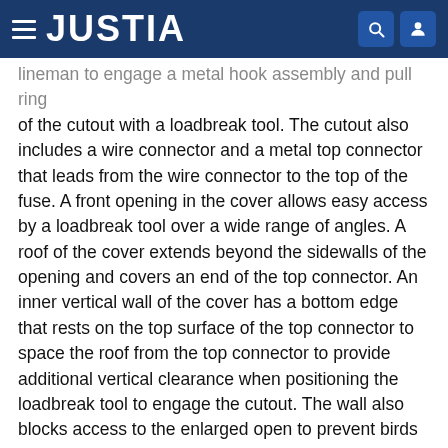JUSTIA
lineman to engage a metal hook assembly and pull ring of the cutout with a loadbreak tool. The cutout also includes a wire connector and a metal top connector that leads from the wire connector to the top of the fuse. A front opening in the cover allows easy access by a loadbreak tool over a wide range of angles. A roof of the cover extends beyond the sidewalls of the opening and covers an end of the top connector. An inner vertical wall of the cover has a bottom edge that rests on the top surface of the top connector to space the roof from the top connector to provide additional vertical clearance when positioning the loadbreak tool to engage the cutout. The wall also blocks access to the enlarged open to prevent birds from nesting in the opening.
Type: Grant
Filed: June 14, 2019